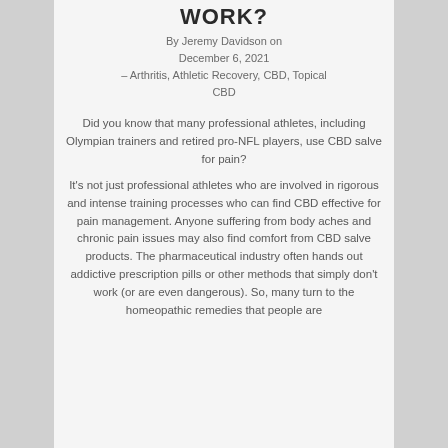WORK?
By Jeremy Davidson on December 6, 2021 – Arthritis, Athletic Recovery, CBD, Topical CBD
Did you know that many professional athletes, including Olympian trainers and retired pro-NFL players, use CBD salve for pain?
It's not just professional athletes who are involved in rigorous and intense training processes who can find CBD effective for pain management. Anyone suffering from body aches and chronic pain issues may also find comfort from CBD salve products. The pharmaceutical industry often hands out addictive prescription pills or other methods that simply don't work (or are even dangerous). So, many turn to the homeopathic remedies that people are...